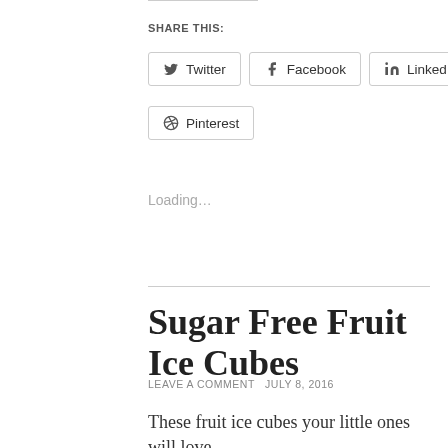SHARE THIS:
Twitter
Facebook
LinkedIn
Pinterest
Loading...
Sugar Free Fruit Ice Cubes
LEAVE A COMMENT  JULY 8, 2016
These fruit ice cubes your little ones will love.